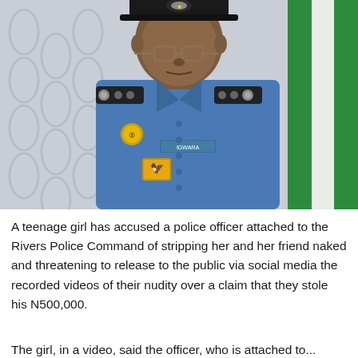[Figure (photo): A Nigerian police officer in blue uniform with black epaulettes, badges, cap, and glasses. A green flag (Nigerian flag) is visible in the background, along with a patterned wallpaper. The officer appears to be a senior officer.]
A teenage girl has accused a police officer attached to the Rivers Police Command of stripping her and her friend naked and threatening to release to the public via social media the recorded videos of their nudity over a claim that they stole his N500,000.
The girl, in a video...